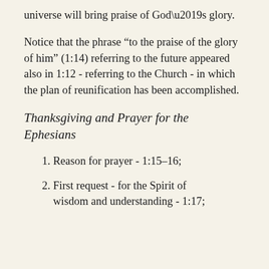universe will bring praise of God’s glory.
Notice that the phrase “to the praise of the glory of him” (1:14) referring to the future appeared also in 1:12 - referring to the Church - in which the plan of reunification has been accomplished.
Thanksgiving and Prayer for the Ephesians
1. Reason for prayer - 1:15–16;
2. First request - for the Spirit of wisdom and understanding - 1:17;